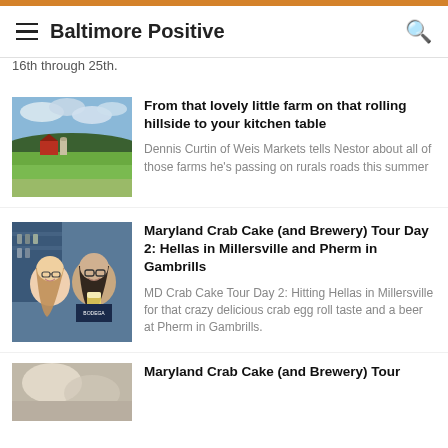Baltimore Positive
16th through 25th.
[Figure (photo): Farm on a rolling hillside with red barn and green fields under cloudy sky]
From that lovely little farm on that rolling hillside to your kitchen table
Dennis Curtin of Weis Markets tells Nestor about all of those farms he's passing on rurals roads this summer
[Figure (photo): Two women smiling at camera inside a brewery, one holding a beer glass]
Maryland Crab Cake (and Brewery) Tour Day 2: Hellas in Millersville and Pherm in Gambrills
MD Crab Cake Tour Day 2: Hitting Hellas in Millersville for that crazy delicious crab egg roll taste and a beer at Pherm in Gambrills.
[Figure (photo): Partial photo visible at bottom of page]
Maryland Crab Cake (and Brewery) Tour